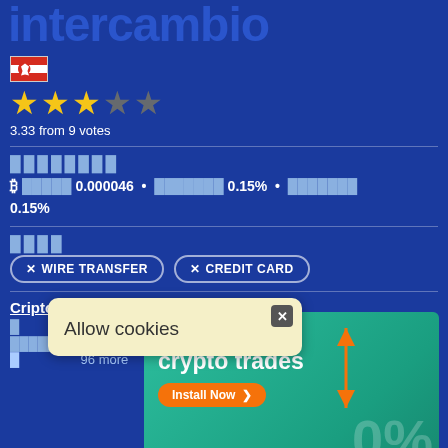intercambio
[Figure (illustration): Chilean flag icon]
★★★☆☆
3.33 from 9 votes
████████
₿ █████ 0.000046 • ███████ 0.15% • ███████ 0.15%
████
✕ WIRE TRANSFER  ✕ CREDIT CARD
Cripto █████████████████████
█
████████████  Bancor
█                96 more
Allow cookies
[Figure (infographic): Advertisement banner: No fees on crypto trades. Install Now button. 0% displayed.]